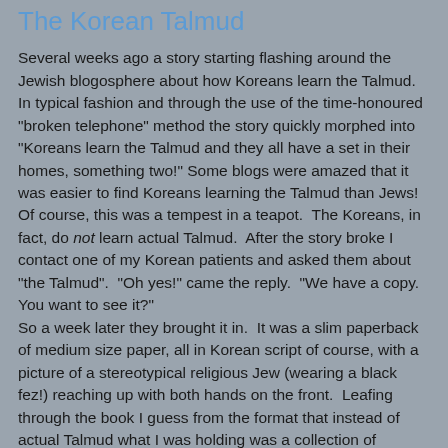The Korean Talmud
Several weeks ago a story starting flashing around the Jewish blogosphere about how Koreans learn the Talmud. In typical fashion and through the use of the time-honoured "broken telephone" method the story quickly morphed into "Koreans learn the Talmud and they all have a set in their homes, something two!" Some blogs were amazed that it was easier to find Koreans learning the Talmud than Jews! Of course, this was a tempest in a teapot. The Koreans, in fact, do not learn actual Talmud. After the story broke I contact one of my Korean patients and asked them about "the Talmud". "Oh yes!" came the reply. "We have a copy. You want to see it?"
So a week later they brought it in. It was a slim paperback of medium size paper, all in Korean script of course, with a picture of a stereotypical religious Jew (wearing a black fez!) reaching up with both hands on the front. Leafing through the book I guess from the format that instead of actual Talmud what I was holding was a collection of stories, a sort of "greatest hits", something my Korean patient quickly confirmed.